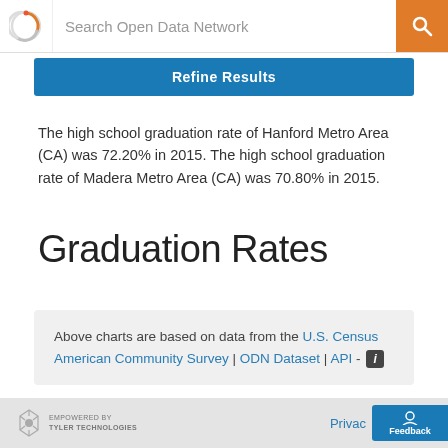Search Open Data Network
Refine Results
The high school graduation rate of Hanford Metro Area (CA) was 72.20% in 2015. The high school graduation rate of Madera Metro Area (CA) was 70.80% in 2015.
Graduation Rates
Above charts are based on data from the U.S. Census American Community Survey | ODN Dataset | API -
EMPOWERED BY TYLER TECHNOLOGIES | Privacy | Feedback